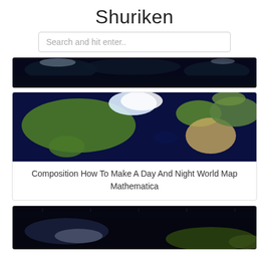Shuriken
Search and hit enter..
[Figure (map): Dark night world map image cropped - top portion showing dark ocean and land masses]
[Figure (map): Day world map showing continents - North America, Europe, Asia, Africa visible from satellite view with green landmasses and dark blue ocean]
Composition How To Make A Day And Night World Map Mathematica
[Figure (map): Night world map from satellite showing lit coastlines and dark landmasses, lower portion of page]